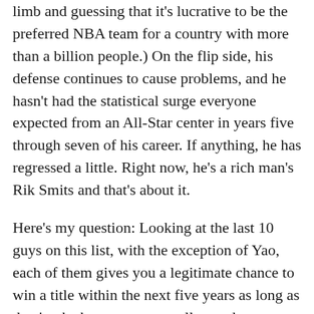limb and guessing that it's lucrative to be the preferred NBA team for a country with more than a billion people.) On the flip side, his defense continues to cause problems, and he hasn't had the statistical surge everyone expected from an All-Star center in years five through seven of his career. If anything, he has regressed a little. Right now, he's a rich man's Rik Smits and that's about it.
Here's my question: Looking at the last 10 guys on this list, with the exception of Yao, each of them gives you a legitimate chance to win a title within the next five years as long as they're the best guy on a really good team. Could you say the same about Yao? To this point, no. Even Smits had some huge moments for the Pacers in the mid-'90s and ended up being the most underrated center of his generation. What has Yao done? His value has been completely distorted, as evidenced by the fact Houston